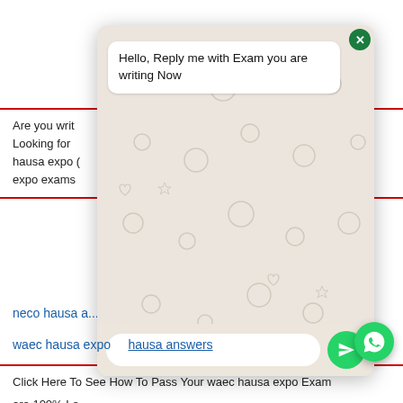Are you writing ... Looking for ... hausa expo Q ... expo exams
neco hausa a...
Are you look... are 100% Le... answers 202... neco hausa a...
waec hausa expo ... hausa answers
Click Here To See How To Pass Your waec hausa expo Exam
[Figure (screenshot): WhatsApp chat popup overlay with message 'Hello, Reply me with Exam you are writing Now', input field, and send button. Background shows decorative WhatsApp pattern.]